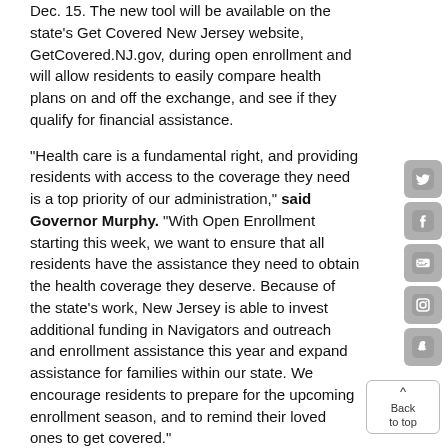Dec. 15. The new tool will be available on the state's Get Covered New Jersey website, GetCovered.NJ.gov, during open enrollment and will allow residents to easily compare health plans on and off the exchange, and see if they qualify for financial assistance.
"Health care is a fundamental right, and providing residents with access to the coverage they need is a top priority of our administration," said Governor Murphy. "With Open Enrollment starting this week, we want to ensure that all residents have the assistance they need to obtain the health coverage they deserve. Because of the state's work, New Jersey is able to invest additional funding in Navigators and outreach and enrollment assistance this year and expand assistance for families within our state. We encourage residents to prepare for the upcoming enrollment season, and to remind their loved ones to get covered."
As part of the move to a State-Based Exchange, New Jersey will operate a State-Based Exchange on the Federal Platform (SBE-FP) this year. As an SBE-FP, the state is able to invest additional resources to help residents with enrollment. Open enrollment in New Jersey runs from Nov. 1 to Dec. 15 and will be promoted through the Get Covered New Jersey public awareness campaign.
[Figure (other): Social media icons sidebar: Twitter, Facebook, YouTube, Instagram, Snapchat]
[Figure (other): Back to top button with upward arrow]